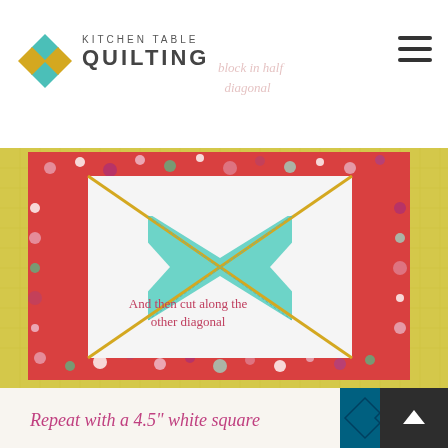Kitchen Table Quilting
[Figure (photo): A quilting block on a yellow cutting mat. The block has a floral patterned fabric border (red with multicolor flowers) surrounding a white and teal square-in-a-square design with yellow diagonal cutting lines forming an X pattern. Text overlay reads 'And then cut along the other diagonal'.]
And then cut along the other diagonal
[Figure (photo): Bottom portion showing a white fabric with text 'Repeat with a 4.5" white square' overlaid in pink/magenta handwriting-style font, with teal/navy patterned fabric visible and crafting supplies.]
Repeat with a 4.5" white square